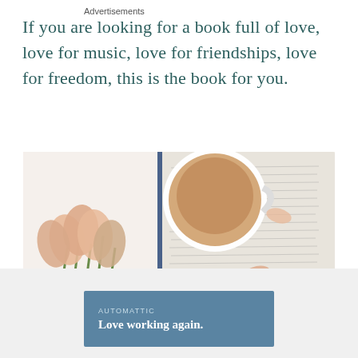If you are looking for a book full of love, love for music, love for friendships, love for freedom, this is the book for you.
[Figure (photo): Overhead photo of peach/pink tulips on the left, an open book with text pages on the right, a white cup of coffee/latte at the top center, and scattered flower petals on a white surface.]
Advertisements
[Figure (screenshot): Advertisement banner: AUTOMATTIC branding with text 'Love working again.' on a steel-blue background.]